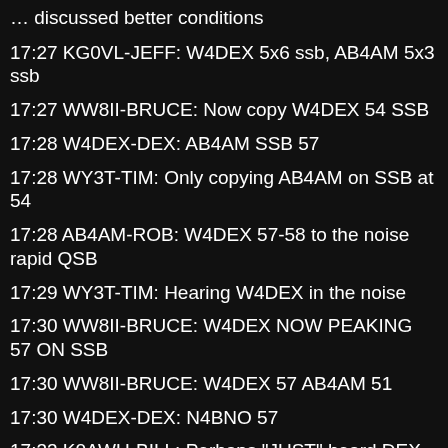17:27 KG0VL-JEFF: W4DEX 5x6 ssb, AB4AM 5x3 ssb
17:27 WW8II-BRUCE: Now copy W4DEX 54 SSB
17:28 W4DEX-DEX: AB4AM SSB 57
17:28 WY3T-TIM: Only copying AB4AM on SSB at 54
17:28 AB4AM-ROB: W4DEX 57-58 to the noise rapid QSB
17:29 WY3T-TIM: Hearing W4DEX in the noise
17:30 WW8II-BRUCE: W4DEX NOW PEAKING 57 ON SSB
17:30 WW8II-BRUCE: W4DEX 57 AB4AM 51
17:30 W4DEX-DEX: N4BNO 57
17:33 K0AWU-BILL: Perhaps "JUST" heard DEX ... really weak SSB a couple of times in QSO with WW8II and KG0VL